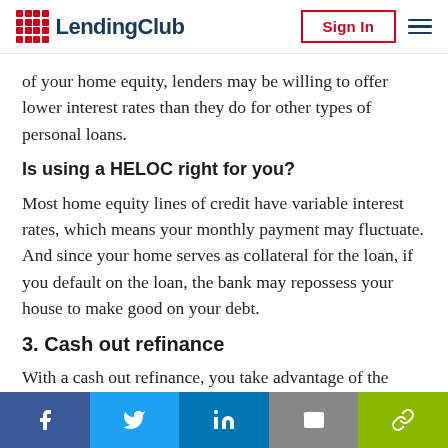LendingClub — Sign In
of your home equity, lenders may be willing to offer lower interest rates than they do for other types of personal loans.
Is using a HELOC right for you?
Most home equity lines of credit have variable interest rates, which means your monthly payment may fluctuate. And since your home serves as collateral for the loan, if you default on the loan, the bank may repossess your house to make good on your debt.
3. Cash out refinance
With a cash out refinance, you take advantage of the